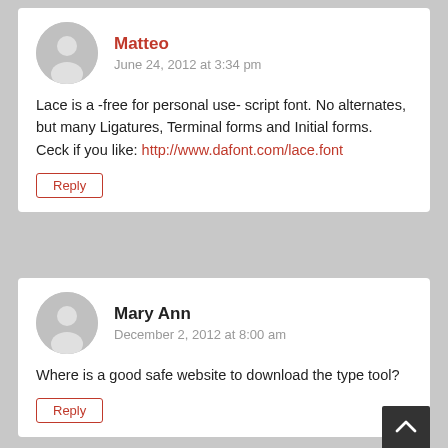[Figure (illustration): User avatar placeholder circle icon for Matteo]
Matteo
June 24, 2012 at 3:34 pm
Lace is a -free for personal use- script font. No alternates, but many Ligatures, Terminal forms and Initial forms.
Ceck if you like: http://www.dafont.com/lace.font
Reply
[Figure (illustration): User avatar placeholder circle icon for Mary Ann]
Mary Ann
December 2, 2012 at 8:00 am
Where is a good safe website to download the type tool?
Reply